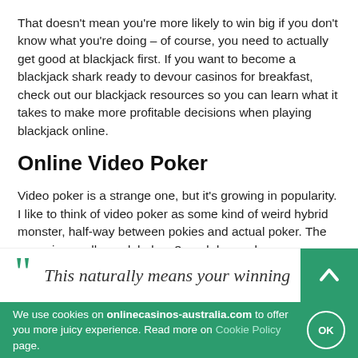That doesn't mean you're more likely to win big if you don't know what you're doing – of course, you need to actually get good at blackjack first. If you want to become a blackjack shark ready to devour casinos for breakfast, check out our blackjack resources so you can learn what it takes to make more profitable decisions when playing blackjack online.
Online Video Poker
Video poker is a strange one, but it's growing in popularity. I like to think of video poker as some kind of weird hybrid monster, half-way between pokies and actual poker. The game is usually modeled on 3 card draw, where you see your hand before deciding which cards to swap out. The key difference is though, with video poker, you're playing against a machine. It's up to you to make a hand of cards of a qualifying rank to walk away in the money.
This naturally means your winning
We use cookies on onlinecasinos-australia.com to offer you more juicy experience. Read more on Cookie Policy page.